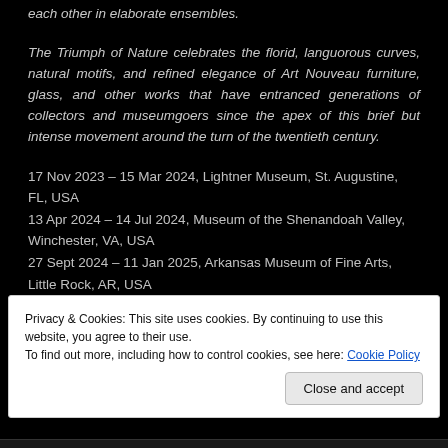each other in elaborate ensembles.
The Triumph of Nature celebrates the florid, languorous curves, natural motifs, and refined elegance of Art Nouveau furniture, glass, and other works that have entranced generations of collectors and museumgoers since the apex of this brief but intense movement around the turn of the twentieth century.
17 Nov 2023 – 15 Mar 2024, Lightner Museum, St. Augustine, FL, USA
13 Apr 2024 – 14 Jul 2024, Museum of the Shenandoah Valley, Winchester, VA, USA
27 Sept 2024 – 11 Jan 2025, Arkansas Museum of Fine Arts, Little Rock, AR, USA
Privacy & Cookies: This site uses cookies. By continuing to use this website, you agree to their use. To find out more, including how to control cookies, see here: Cookie Policy
Close and accept